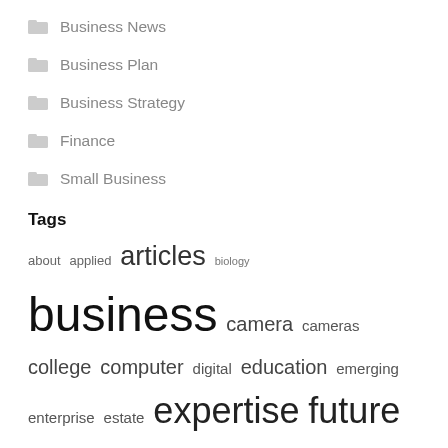Business News
Business Plan
Business Strategy
Finance
Small Business
Tags
about applied articles biology business camera cameras college computer digital education emerging enterprise estate expertise future gaming health house improvement india information international knowhow laptop latest leisure medical modern newest online phones research rising satellite school science sciences smartphone smartphones technologies